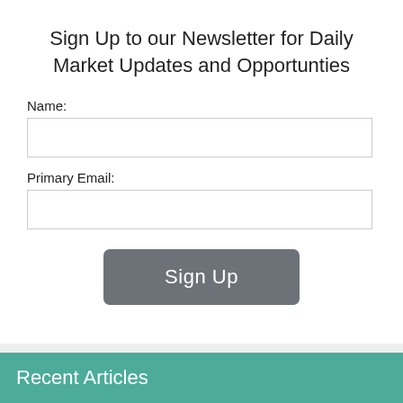Sign Up to our Newsletter for Daily Market Updates and Opportunties
Name:
Primary Email:
[Figure (other): Sign Up button — rounded rectangle with gray background and white text reading 'Sign Up']
Recent Articles